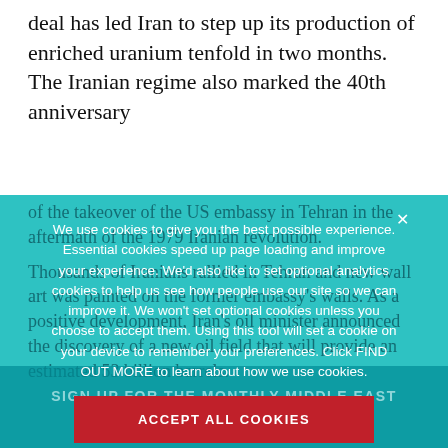deal has led Iran to step up its production of enriched uranium tenfold in two months. The Iranian regime also marked the 40th anniversary
of the takeover of the US embassy in Tehran in the aftermath of the 1979 Iranian revolution. Thousands of Iranians rallied in Tehran and new wall art was painted on the former embassy's walls. As a positive development, Iran's oil minister announced the discovery of a new oil field that will provide an estimated 53 billion barrels.
We use cookies to give you the best possible experience. Essential cookies speed up page loading and improve your experience. We'd also like to set optional analytics cookies to help us see how people use our site so we can improve it. We won't set optional cookies unless you choose to accept them. Using this tool will set a cookie on your device to remember your preferences. Click FIND OUT MORE to learn about how we use cookies.
ACCEPT ALL COOKIES
BLOCK NON-ESSENTIAL COOKIES
FIND OUT MORE
SIGN UP FOR THE MONTHLY MIDDLE EAST BRIEFING